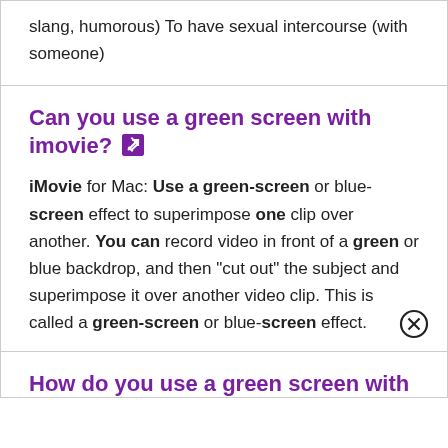slang, humorous) To have sexual intercourse (with someone)
Can you use a green screen with imovie?
iMovie for Mac: Use a green-screen or blue-screen effect to superimpose one clip over another. You can record video in front of a green or blue backdrop, and then “cut out” the subject and superimpose it over another video clip. This is called a green-screen or blue-screen effect.
How do you use a green screen with